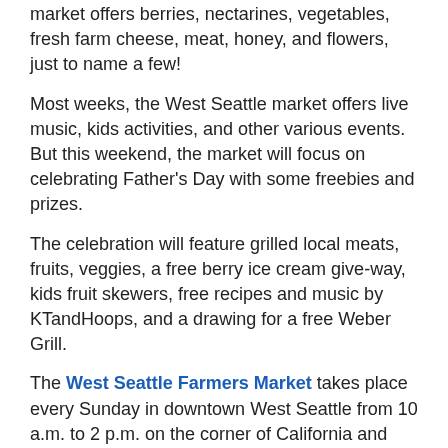market offers berries, nectarines, vegetables, fresh farm cheese, meat, honey, and flowers, just to name a few!
Most weeks, the West Seattle market offers live music, kids activities, and other various events. But this weekend, the market will focus on celebrating Father’s Day with some freebies and prizes.
The celebration will feature grilled local meats, fruits, veggies, a free berry ice cream give-way, kids fruit skewers, free recipes and music by KTandHoops, and a drawing for a free Weber Grill.
The West Seattle Farmers Market takes place every Sunday in downtown West Seattle from 10 a.m. to 2 p.m. on the corner of California and Alaska.
For more information, email the Neighborhood Farmers Market Alliance, call at 206 632-5234 or visit the website.
Filed Under: Bottom Line Tagged With: Father’s Day, food, neighborhood